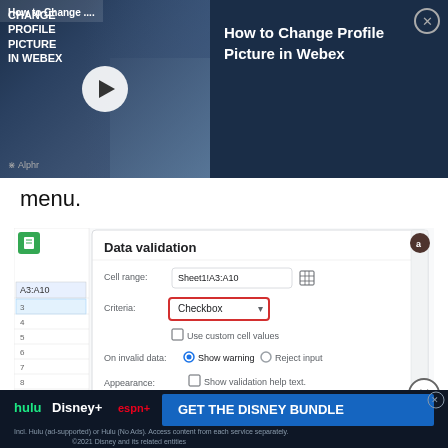[Figure (screenshot): Video thumbnail for 'How to Change Profile Picture in Webex' from Alphr, with play button overlay and dark blue background]
menu.
[Figure (screenshot): Google Sheets Data Validation dialog showing: Cell range Sheet1!A3:A10, Criteria: Checkbox (highlighted in red box), Use custom cell values checkbox, On invalid data: Show warning / Reject input, Appearance: Show validation help text, and Cancel / Remove validation / Save buttons]
5. Then click on the Criteria dropdown...
[Figure (screenshot): Disney Bundle advertisement banner with Hulu, Disney+, ESPN+ logos and 'GET THE DISNEY BUNDLE' text]